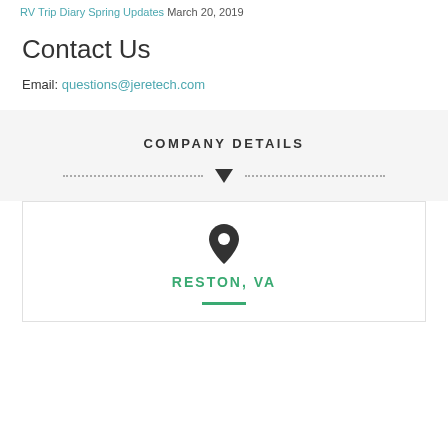RV Trip Diary Spring Updates March 20, 2019
Contact Us
Email: questions@jeretech.com
COMPANY DETAILS
[Figure (infographic): Dotted divider line with downward-pointing triangle/arrow in the center]
[Figure (infographic): White card with map pin icon, location text RESTON, VA, and a short green horizontal line beneath]
RESTON, VA